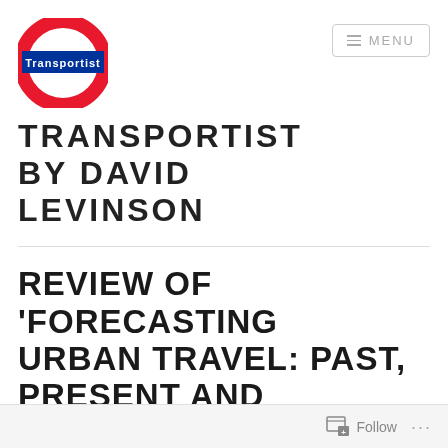[Figure (logo): Transportist logo: red circle with blue horizontal band in the center containing white text 'Transportist', styled like London Underground roundel]
≡ MENU
TRANSPORTIST BY DAVID LEVINSON
REVIEW OF 'FORECASTING URBAN TRAVEL: PAST, PRESENT AND FUTURE,' BY DAVID BOYCE AND HUW WILLIAMS
Follow ...